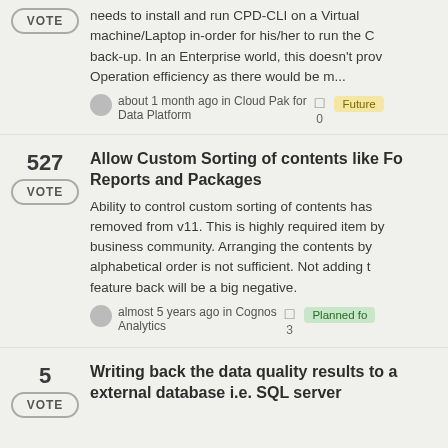needs to install and run CPD-CLI on a Virtual machine/Laptop in-order for his/her to run the C back-up. In an Enterprise world, this doesn't prov Operation efficiency as there would be m...
about 1 month ago in Cloud Pak for Data Platform  0  Future
527 VOTE - Allow Custom Sorting of contents like Fo Reports and Packages
Ability to control custom sorting of contents has removed from v11. This is highly required item by business community. Arranging the contents by alphabetical order is not sufficient. Not adding t feature back will be a big negative.
almost 5 years ago in Cognos Analytics  3  Planned fo
5 VOTE - Writing back the data quality results to a external database i.e. SQL server